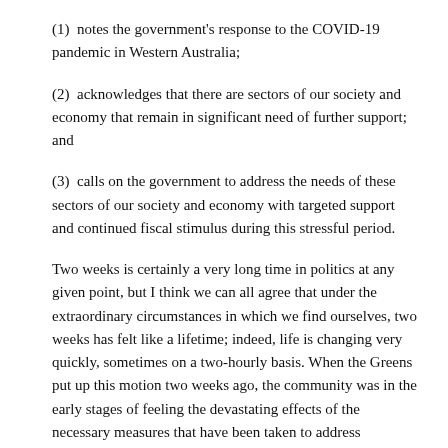(1)  notes the government's response to the COVID-19 pandemic in Western Australia;
(2)  acknowledges that there are sectors of our society and economy that remain in significant need of further support; and
(3)  calls on the government to address the needs of these sectors of our society and economy with targeted support and continued fiscal stimulus during this stressful period.
Two weeks is certainly a very long time in politics at any given point, but I think we can all agree that under the extraordinary circumstances in which we find ourselves, two weeks has felt like a lifetime; indeed, life is changing very quickly, sometimes on a two-hourly basis. When the Greens put up this motion two weeks ago, the community was in the early stages of feeling the devastating effects of the necessary measures that have been taken to address